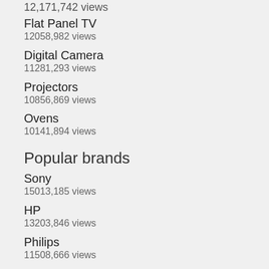Flat Panel TV
12058,982 views
Digital Camera
11281,293 views
Projectors
10856,869 views
Ovens
10141,894 views
Popular brands
Sony
15013,185 views
HP
13203,846 views
Philips
11508,666 views
Canon
9885,030 views
GE